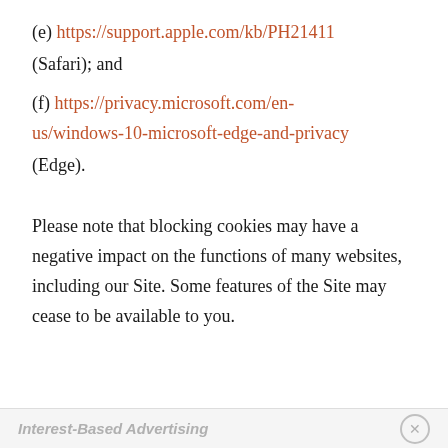(e) https://support.apple.com/kb/PH21411 (Safari); and
(f) https://privacy.microsoft.com/en-us/windows-10-microsoft-edge-and-privacy (Edge).
Please note that blocking cookies may have a negative impact on the functions of many websites, including our Site. Some features of the Site may cease to be available to you.
Interest-Based Advertising